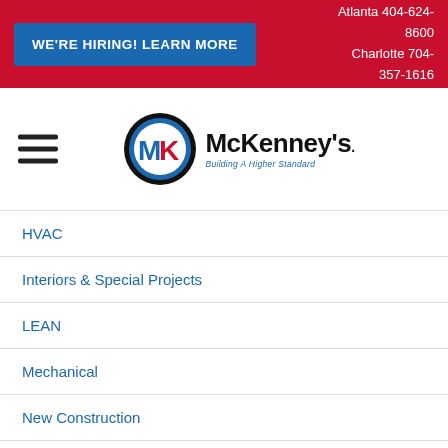[Figure (infographic): Red banner with blue 'WE'RE HIRING! LEARN MORE' button and phone numbers for Atlanta 404-624-8600 and Charlotte 704-357-1616]
[Figure (logo): McKenney's Inc. logo with MK circular emblem and tagline 'Building A Higher Standard']
HVAC
Interiors & Special Projects
LEAN
Mechanical
New Construction
News
Plumbing